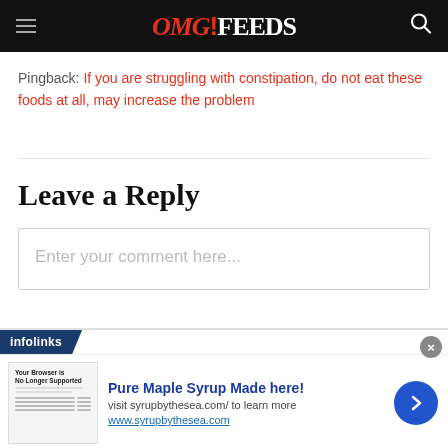OMG!FEEDS
Pingback: If you are struggling with constipation, do not eat these foods at all, may increase the problem
Leave a Reply
Enter your comment here...
[Figure (screenshot): Infolinks advertisement banner with browser screenshot image, headline 'Pure Maple Syrup Made here!', subtext 'visit syrupbythesea.com/ to learn more', URL 'www.syrupbythesea.com', and navigation arrow button.]